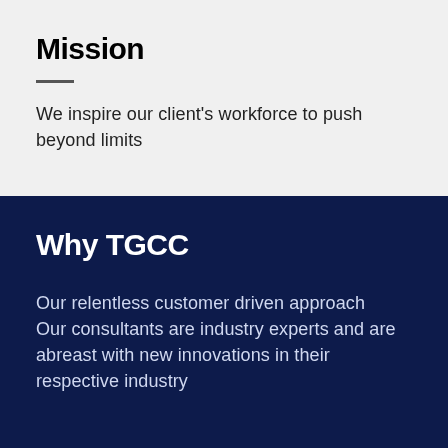Mission
We inspire our client's workforce to push beyond limits
Why TGCC
Our relentless customer driven approach
Our consultants are industry experts and are abreast with new innovations in their respective industry